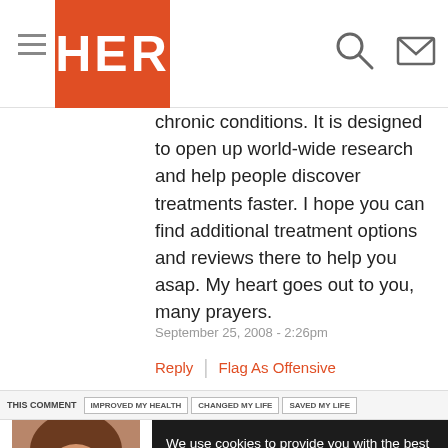HER
chronic conditions. It is designed to open up world-wide research and help people discover treatments faster. I hope you can find additional treatment options and reviews there to help you asap. My heart goes out to you, many prayers.
September 25, 2008 - 2:26pm
Reply | Flag As Offensive
THIS COMMENT   IMPROVED MY HEALTH   CHANGED MY LIFE   SAVED MY LIFE
[Figure (photo): Profile photo of a woman with glasses and brown hair, smiling. Badge below reads EMPOWERED.]
We use cookies to provide you with the best experience on our site. If you continue using EmpowHER we will assume that you are happy to receive cookies. Learn more
Got it!
information (I am sure you already know